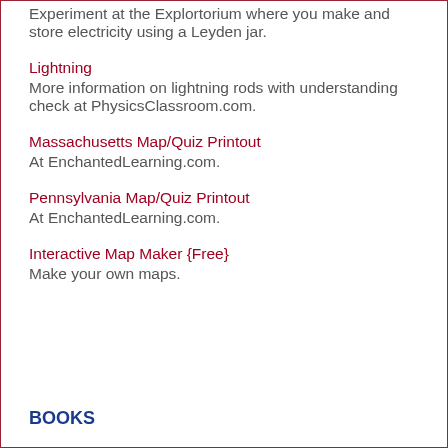Experiment at the Explortorium where you make and store electricity using a Leyden jar.
Lightning
More information on lightning rods with understanding check at PhysicsClassroom.com.
Massachusetts Map/Quiz Printout
At EnchantedLearning.com.
Pennsylvania Map/Quiz Printout
At EnchantedLearning.com.
Interactive Map Maker {Free}
Make your own maps.
BOOKS